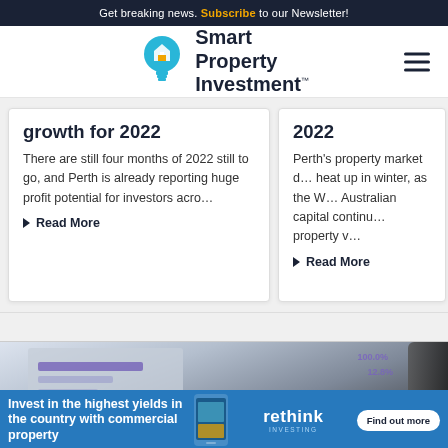Get breaking news. Subscribe to our Newsletter!
[Figure (logo): Smart Property Investment logo with lightbulb icon]
growth for 2022
There are still four months of 2022 still to go, and Perth is already reporting huge profit potential for investors acro…
Read More
2022
Perth's property market d… heat up in winter, as the W… Australian capital continu… property v…
Read More
[Figure (photo): Blurred screenshot of property investment app/website on a tablet device]
Invest in the highest yields in the country with commercial property
[Figure (logo): Rethink Investing logo with Find out more button]